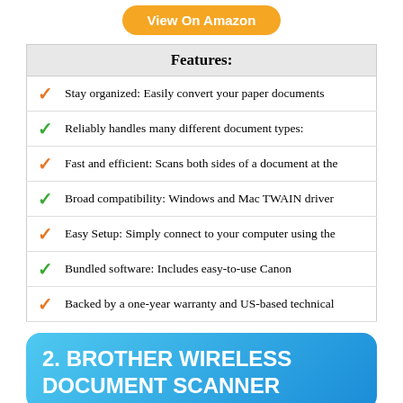View On Amazon
Features:
Stay organized: Easily convert your paper documents
Reliably handles many different document types:
Fast and efficient: Scans both sides of a document at the
Broad compatibility: Windows and Mac TWAIN driver
Easy Setup: Simply connect to your computer using the
Bundled software: Includes easy-to-use Canon
Backed by a one-year warranty and US-based technical
2. BROTHER WIRELESS DOCUMENT SCANNER
[Figure (photo): Image of a document scanner product with papers]